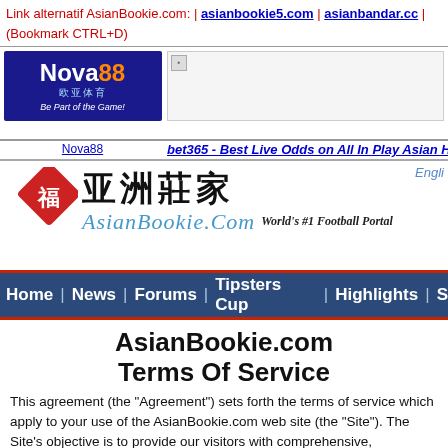Link alternatif AsianBookie.com: | asianbookie5.com | asianbandar.cc | (Bookmark CTRL+D)
[Figure (logo): Nova88 logo - blue background with orange 88, Chinese text 欧亚体育, tagline Be Part of the Game!]
Nova88
[Figure (illustration): bet365 banner image placeholder]
bet365 - Best Live Odds on All In Play Asian H...
[Figure (logo): AsianBookie.com site header with red diamond logo, Chinese characters 亚洲莊家, AsianBookie.Com script, World's #1 Football Portal text, wolf mascot]
Home | News | Forums | Tipsters Cup | Highlights | S...
AsianBookie.com Terms Of Service
This agreement (the "Agreement") sets forth the terms of service which apply to your use of the AsianBookie.com web site (the "Site"). The Site's objective is to provide our visitors with comprehensive,